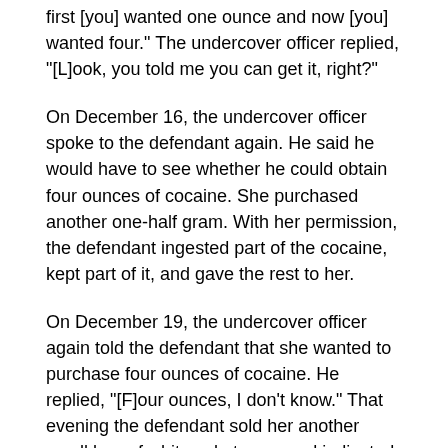first [you] wanted one ounce and now [you] wanted four." The undercover officer replied, "[L]ook, you told me you can get it, right?"
On December 16, the undercover officer spoke to the defendant again. He said he would have to see whether he could obtain four ounces of cocaine. She purchased another one-half gram. With her permission, the defendant ingested part of the cocaine, kept part of it, and gave the rest to her.
On December 19, the undercover officer again told the defendant that she wanted to purchase four ounces of cocaine. He replied, "[F]our ounces, I don't know." That evening the defendant sold her another small bag of white substance, and indicated that the price for four ounces would be $1,100 per ounce. They agreed to